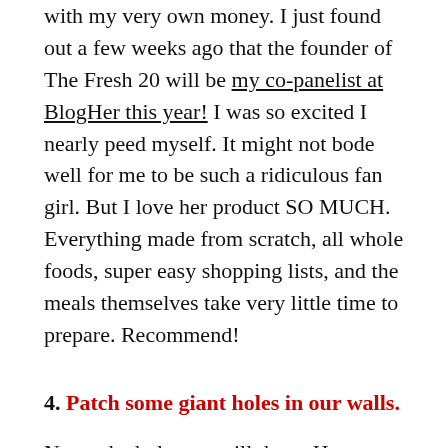with my very own money. I just found out a few weeks ago that the founder of The Fresh 20 will be my co-panelist at BlogHer this year! I was so excited I nearly peed myself. It might not bode well for me to be such a ridiculous fan girl. But I love her product SO MUCH. Everything made from scratch, all whole foods, super easy shopping lists, and the meals themselves take very little time to prepare. Recommend!
4. Patch some giant holes in our walls.
Nope, the holes are still there. Home Depot scares me.
5. Repaint other messed up paint…or do something about it.
Nope, the paint is getting worse. My children have